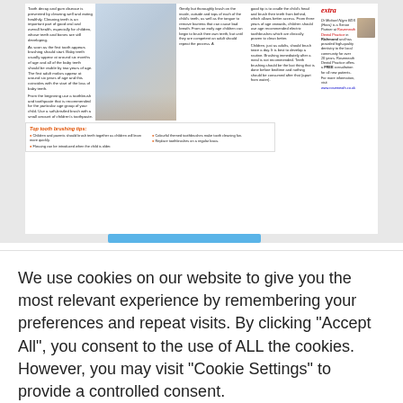[Figure (screenshot): Screenshot of a dental health article about tooth brushing, showing multiple columns of text about tooth decay prevention, brushing tips, a photo of a person brushing teeth, a 'Top tooth brushing tips' section with colored bullets, and an 'extra' sidebar featuring Dr Michael Nigro from Rosemeath Dental Practice in Richmond.]
We use cookies on our website to give you the most relevant experience by remembering your preferences and repeat visits. By clicking "Accept All", you consent to the use of ALL the cookies. However, you may visit "Cookie Settings" to provide a controlled consent.
Cookie Settings
Accept All